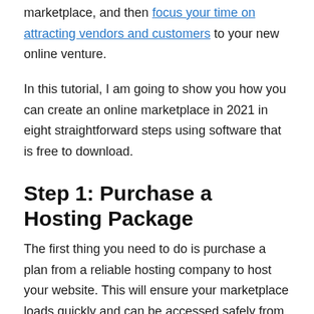marketplace, and then focus your time on attracting vendors and customers to your new online venture.
In this tutorial, I am going to show you how you can create an online marketplace in 2021 in eight straightforward steps using software that is free to download.
Step 1: Purchase a Hosting Package
The first thing you need to do is purchase a plan from a reliable hosting company to host your website. This will ensure your marketplace loads quickly and can be accessed safely from all around the world. To do this, you can use any number of...